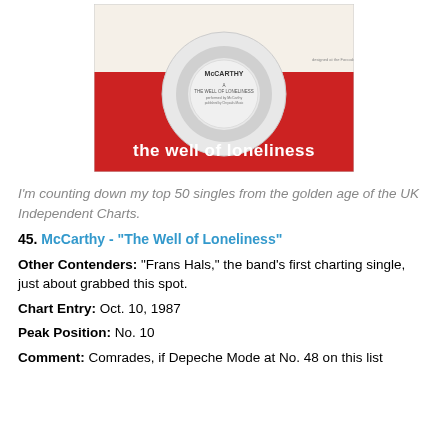[Figure (photo): Album single cover for McCarthy - 'The Well of Loneliness'. Red and white cover with a vinyl record visible. Text on cover reads 'McCARTHY' and 'the well of loneliness' in white text on red background.]
I'm counting down my top 50 singles from the golden age of the UK Independent Charts.
45. McCarthy - "The Well of Loneliness"
Other Contenders: "Frans Hals," the band's first charting single, just about grabbed this spot.
Chart Entry: Oct. 10, 1987
Peak Position: No. 10
Comment: Comrades, if Depeche Mode at No. 48 on this list